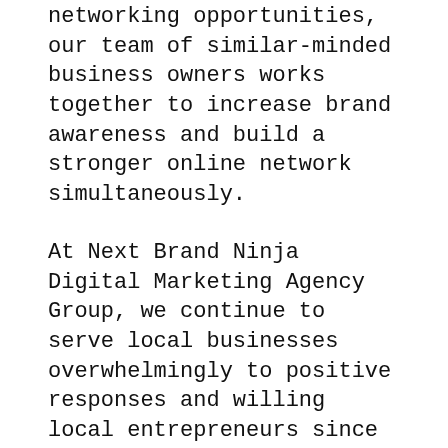networking opportunities, our team of similar-minded business owners works together to increase brand awareness and build a stronger online network simultaneously.
At Next Brand Ninja Digital Marketing Agency Group, we continue to serve local businesses overwhelmingly to positive responses and willing local entrepreneurs since we started. We believe that any idea can be a viable idea as long as you are connected to the right-minded individuals.
As your professional digital marketing agency in Palm Coast, Florida, we provide a variety of useful support services as well as preparing a special path to your